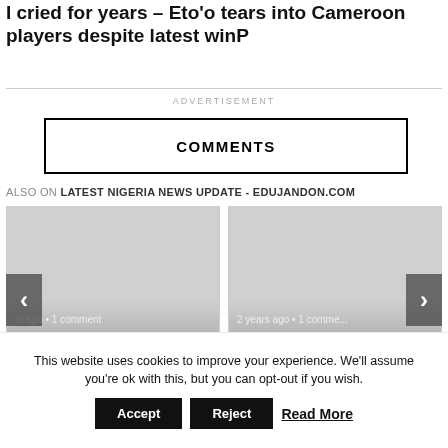I cried for years – Eto'o tears into Cameroon players despite latest winP
ADVERTISEMENT
COMMENTS
ALSO ON LATEST NIGERIA NEWS UPDATE - EDUJANDON.COM
[Figure (screenshot): Two article thumbnails side by side with navigation arrows. Left card: '...rs ago • 1 comment' with title 'Maame Water Appears at the'. Right card: '2 years ago • 1 comme...' with title 'Small Fishes Always Come'. Left arrow '<' and right arrow '>' visible on sides.]
This website uses cookies to improve your experience. We'll assume you're ok with this, but you can opt-out if you wish.
Accept
Reject
Read More